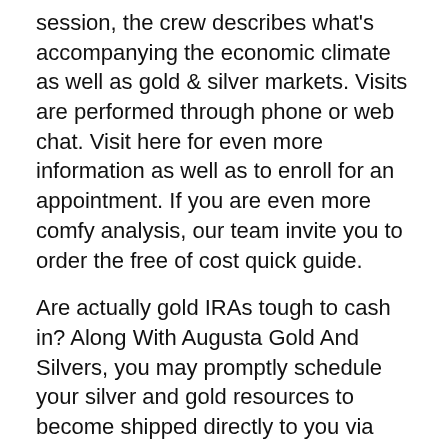session, the crew describes what's accompanying the economic climate as well as gold & silver markets. Visits are performed through phone or web chat. Visit here for even more information as well as to enroll for an appointment. If you are even more comfy analysis, our team invite you to order the free of cost quick guide.
Are actually gold IRAs tough to cash in? Along With Augusta Gold And Silvers, you may promptly schedule your silver and gold resources to become shipped directly to you via your custodian, or even you can easily possess the metals removed in your place, and the funds are going to be wired to you.
If you will just like, you may also produce